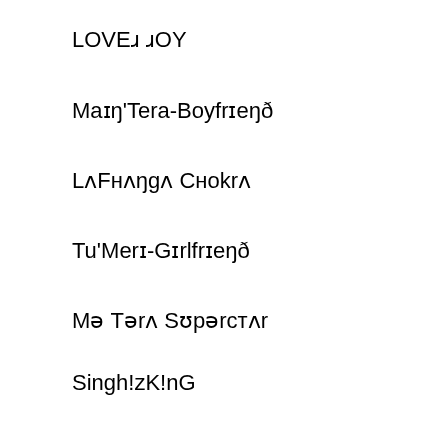LOVEɹ ɹOY
Maɪŋ'Tera-Boyfrɪeŋð
LʌFнʌŋgʌ Cнokrʌ
Tu'Merɪ-Gɪrlfrɪeŋð
Mə Тərʌ Sʊpərстʌr
Singh!zK!nG
Stylish Baby
Desi Bacha